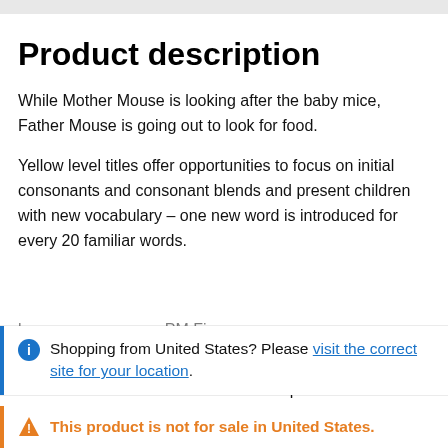Product description
While Mother Mouse is looking after the baby mice, Father Mouse is going out to look for food.
Yellow level titles offer opportunities to focus on initial consonants and consonant blends and present children with new vocabulary – one new word is introduced for every 20 familiar words.
resolution. The stories deal with concepts and experiences
Shopping from United States? Please visit the correct site for your location.
This product is not for sale in United States.
levels 3–24